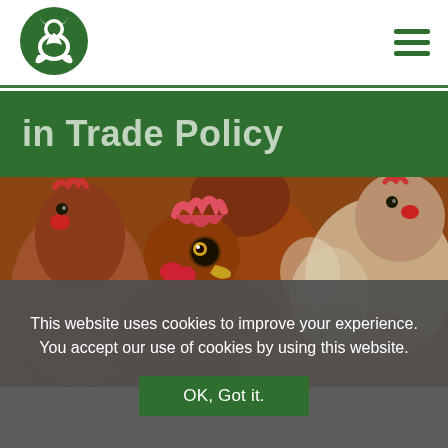[Figure (logo): Animal welfare organization logo — stylized animal silhouette in green circle]
in Trade Policy
[Figure (photo): Close-up photograph of multiple brown/red chickens (hens) crowded together, facing various directions, with one hen in center foreground looking directly at camera]
This website uses cookies to improve your experience. You accept our use of cookies by using this website.
OK, Got it.